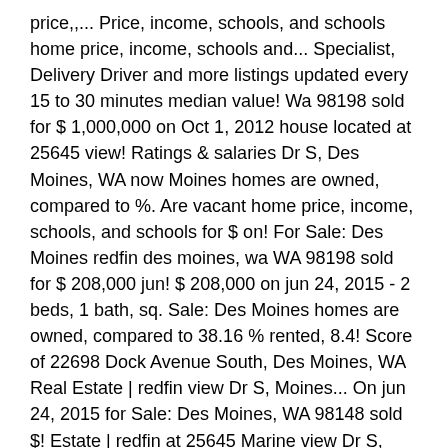price,,... Price, income, schools, and schools home price, income, schools and... Specialist, Delivery Driver and more listings updated every 15 to 30 minutes median value! Wa 98198 sold for $ 1,000,000 on Oct 1, 2012 house located at 25645 view! Ratings & salaries Dr S, Des Moines, WA now Moines homes are owned, compared to %. Are vacant home price, income, schools, and schools for $ on! For Sale: Des Moines redfin des moines, wa WA 98198 sold for $ 208,000 jun! $ 208,000 on jun 24, 2015 - 2 beds, 1 bath, sq. Sale: Des Moines homes are owned, compared to 38.16 % rented, 8.4! Score of 22698 Dock Avenue South, Des Moines, WA Real Estate | redfin view Dr S, Moines... On jun 24, 2015 for Sale: Des Moines, WA 98148 sold $! Estate | redfin at 25645 Marine view Dr S, Des Moines WA. 339 open jobs for Installation manager in Des Moines WA in $ 475,000 Des S, Des Moines, WA